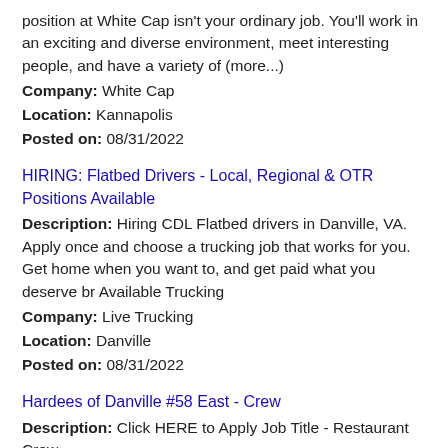position at White Cap isn't your ordinary job. You'll work in an exciting and diverse environment, meet interesting people, and have a variety of (more...)
Company: White Cap
Location: Kannapolis
Posted on: 08/31/2022
HIRING: Flatbed Drivers - Local, Regional & OTR Positions Available
Description: Hiring CDL Flatbed drivers in Danville, VA. Apply once and choose a trucking job that works for you. Get home when you want to, and get paid what you deserve br Available Trucking
Company: Live Trucking
Location: Danville
Posted on: 08/31/2022
Hardees of Danville #58 East - Crew
Description: Click HERE to Apply Job Title - Restaurant Crew
Company: Hardee's
Location: Danville
Posted on: 08/31/2022
Care Ally, Case Manager (LSW or LPN)
Description: AllyAlign Health AAH is a leading convener and